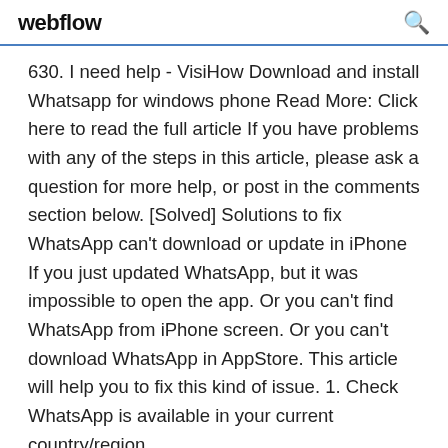webflow
630. I need help - VisiHow Download and install Whatsapp for windows phone Read More: Click here to read the full article If you have problems with any of the steps in this article, please ask a question for more help, or post in the comments section below. [Solved] Solutions to fix WhatsApp can't download or update in iPhone If you just updated WhatsApp, but it was impossible to open the app. Or you can't find WhatsApp from iPhone screen. Or you can't download WhatsApp in AppStore. This article will help you to fix this kind of issue. 1. Check WhatsApp is available in your current country/region